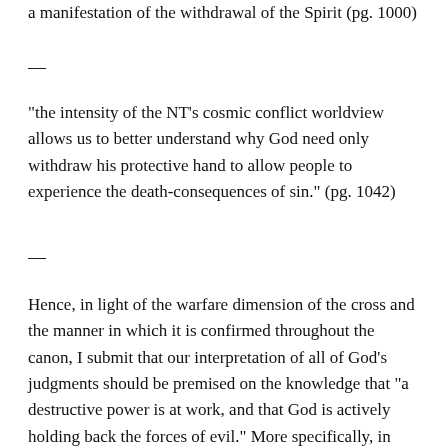a manifestation of the withdrawal of the Spirit (pg. 1000)
—
“the intensity of the NT’s cosmic conflict worldview allows us to better understand why God need only withdraw his protective hand to allow people to experience the death-consequences of sin.” (pg. 1042)
—
Hence, in light of the warfare dimension of the cross and the manner in which it is confirmed throughout the canon, I submit that our interpretation of all of God’s judgments should be premised on the knowledge that “a destructive power is at work, and that God is actively holding back the forces of evil.” More specifically, in light of the cross, I submit that all canonical depictions of God using nature as a weapon of judgment (e.g., the flood, Sodom and Gomorrah) can be, and should be, understood to be occasions in which God, with a grieving but